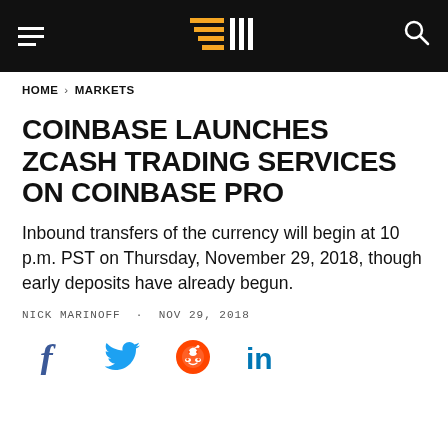HOME > MARKETS
COINBASE LAUNCHES ZCASH TRADING SERVICES ON COINBASE PRO
Inbound transfers of the currency will begin at 10 p.m. PST on Thursday, November 29, 2018, though early deposits have already begun.
NICK MARINOFF · NOV 29, 2018
[Figure (other): Social sharing icons: Facebook, Twitter, Reddit, LinkedIn]